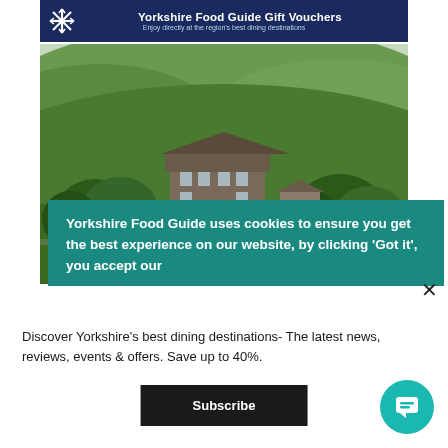[Figure (screenshot): Yorkshire Food Guide Gift Vouchers banner with snowflake logo on dark navy background. Subtitle: Enjoy directly at the region's best dining destinations]
[Figure (photo): Aerial/landscape photo of a large country house/hotel surrounded by trees set in green Yorkshire Dales hillside]
[Figure (screenshot): Teal cookie consent overlay banner with white bold text: Yorkshire Food Guide uses cookies to ensure you get the best experience on our website, by clicking 'Got it', you accept our]
Discover Yorkshire's best dining destinations- The latest news, reviews, events & offers. Save up to 40%.
[Figure (screenshot): Subscribe button (dark/black background, white text). Close X button top right. Teal chat bubble button bottom right.]